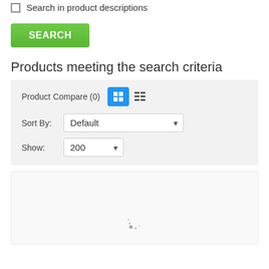Search in product descriptions
SEARCH
Products meeting the search criteria
Product Compare (0)
Sort By: Default
Show: 200
[Figure (screenshot): Loading spinner in product results area]